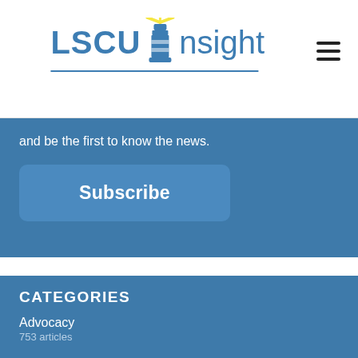LSCU Insight
and be the first to know the news.
Subscribe
CATEGORIES
Advocacy
753 articles
Communications
164 articles
Compliance